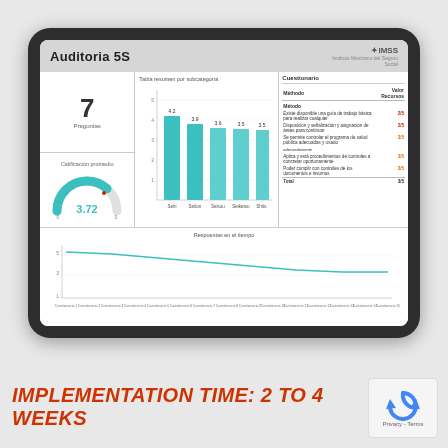[Figure (screenshot): A tablet device displaying an 'Auditoria 5S' dashboard with bar charts, gauge, KPI number 7, line chart, and audit table. The IMSS logo is in the top right of the dashboard.]
IMPLEMENTATION TIME: 2 TO 4 WEEKS
[Figure (logo): reCAPTCHA badge with rotating arrow icon and 'Privacy - Terms' text]